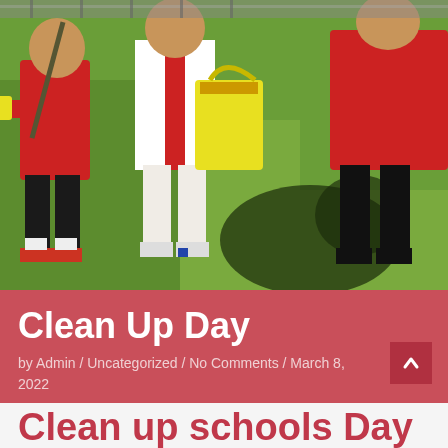[Figure (photo): Children in red shirts doing a clean up activity on grass, one carrying a yellow McDonald's bag and wearing yellow gloves. Shadows visible on ground.]
Clean Up Day
by Admin / Uncategorized / No Comments / March 8, 2022
Clean up schools Day